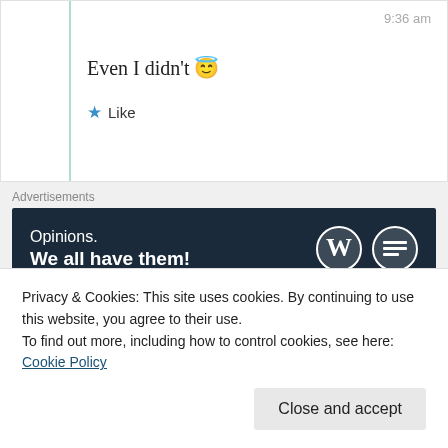9:36 am
Even I didn't 😇
★ Like
Advertisements
[Figure (other): WordPress advertisement banner: 'Opinions. We all have them!' with WordPress and Press This logos on dark navy background]
REPORT THIS AD
Yernasia Quorelios
18th Jun 2021 at 10:14 am
Privacy & Cookies: This site uses cookies. By continuing to use this website, you agree to their use. To find out more, including how to control cookies, see here: Cookie Policy
Close and accept